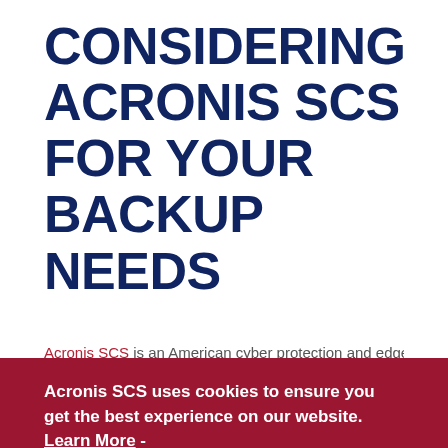CONSIDERING ACRONIS SCS FOR YOUR BACKUP NEEDS
Acronis SCS is an American cyber protection and edge...
[Figure (screenshot): Cookie consent banner overlay in dark red (#9b1631) containing bold white text 'Acronis SCS uses cookies to ensure you get the best experience on our website. Learn More - Privacy Statement' with a dark navy 'Got It' button]
running.